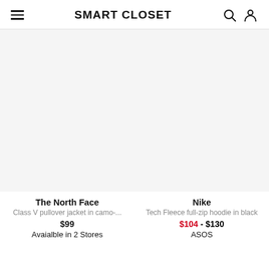SMART CLOSET
[Figure (photo): Product image placeholder for The North Face Class V pullover jacket in camo]
The North Face
Class V pullover jacket in camo-...
$99
Avaialble in 2 Stores
[Figure (photo): Product image placeholder for Nike Tech Fleece full-zip hoodie in black]
Nike
Tech Fleece full-zip hoodie in black
$104 - $130
ASOS